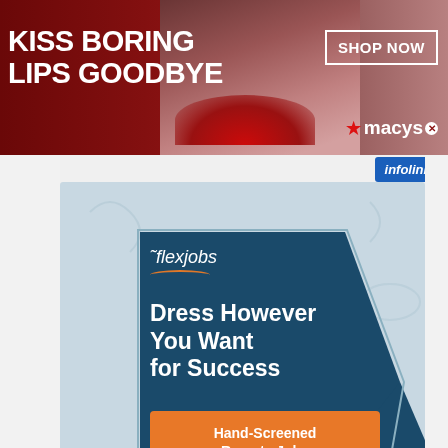[Figure (illustration): Macy's banner ad with woman's red lips on dark red background. Text: KISS BORING LIPS GOODBYE. Button: SHOP NOW. Macy's star logo.]
[Figure (illustration): Infolinks badge top-right]
[Figure (illustration): FlexJobs advertisement on light blue background. Dark teal hexagon shape. Logo: flexjobs with arc underline. Headline: Dress However You Want for Success. Orange button: Hand-Screened Remote Jobs.]
[Figure (illustration): Infolinks badge bottom-left]
[Figure (illustration): Chewy.com Google ad. Image of pet products. Text: Pet Food, Products, Supplies at Low Prices - Pay the lowest prices on pet supplies at Chewy.com. URL: chewy.com. Blue arrow button.]